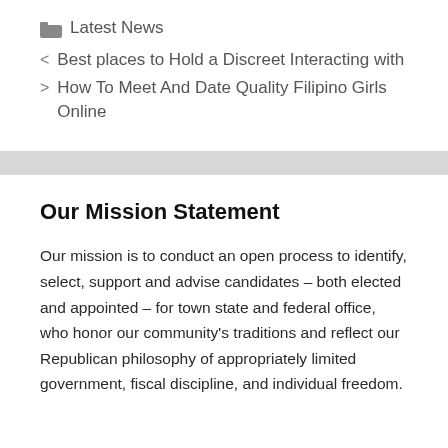Latest News
< Best places to Hold a Discreet Interacting with
> How To Meet And Date Quality Filipino Girls Online
Our Mission Statement
Our mission is to conduct an open process to identify, select, support and advise candidates – both elected and appointed – for town state and federal office, who honor our community's traditions and reflect our Republican philosophy of appropriately limited government, fiscal discipline, and individual freedom.